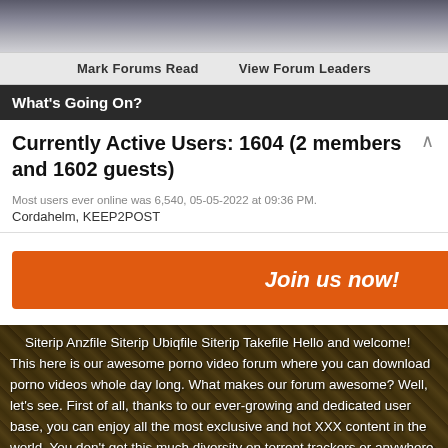[Figure (photo): Dark gradient top banner image]
Mark Forums Read   View Forum Leaders
What's Going On?
Currently Active Users: 1604 (2 members and 1602 guests)
Most users ever online was 6,540, 05-05-2022 at 09:36 PM.
Cordahelm, KEEP2POST
Join us now!
[Figure (photo): Background nature/grass image with overlaid forum description text about the adult video forum website.]